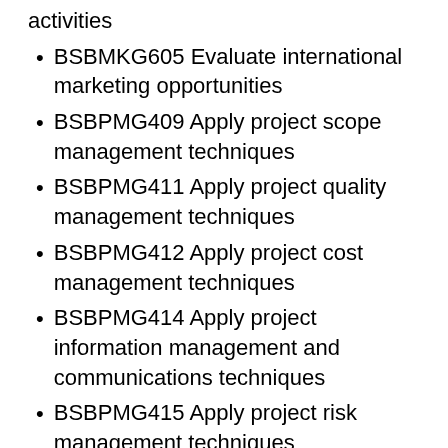activities
BSBMKG605 Evaluate international marketing opportunities
BSBPMG409 Apply project scope management techniques
BSBPMG411 Apply project quality management techniques
BSBPMG412 Apply project cost management techniques
BSBPMG414 Apply project information management and communications techniques
BSBPMG415 Apply project risk management techniques
BSBPMG515 Manage project human